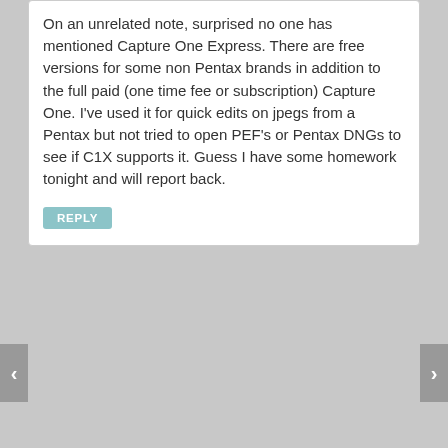On an unrelated note, surprised no one has mentioned Capture One Express. There are free versions for some non Pentax brands in addition to the full paid (one time fee or subscription) Capture One. I've used it for quick edits on jpegs from a Pentax but not tried to open PEF's or Pentax DNGs to see if C1X supports it. Guess I have some homework tonight and will report back.
REPLY
BigMackCam 04-27-2022 12:57 PM #69
Originally Posted by cdd29: Darktable will run on Linux? I just set up a laptop with Ubuntu. Is there anything special you need to do for it to run or is there a Linux specific download?
Darktable was originally written to run under Linux. Windows availability has only happened in the last few years.
See https://www.darktable.org/install/ for installation. You might want to go for the latest flatpak install, but there are other options.